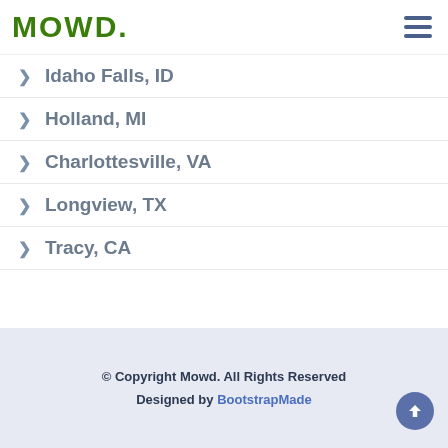MOWD.
Idaho Falls, ID
Holland, MI
Charlottesville, VA
Longview, TX
Tracy, CA
© Copyright Mowd. All Rights Reserved
Designed by BootstrapMade